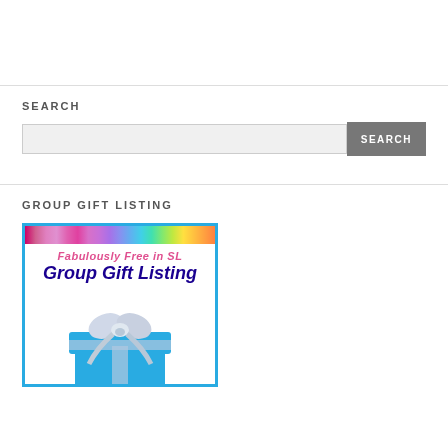SEARCH
[Figure (other): Search input box with SEARCH button]
GROUP GIFT LISTING
[Figure (illustration): Group Gift Listing banner image with rainbow bar, 'Fabulously Free in SL' text, 'Group Gift Listing' title, and a blue gift box with silver ribbon]